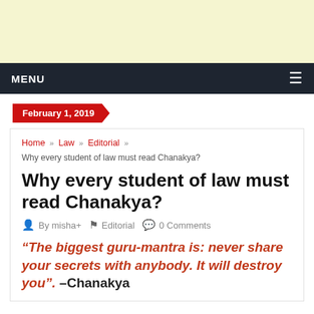[Figure (other): Light yellow advertisement banner area at the top of the page]
MENU
February 1, 2019
Home » Law » Editorial » Why every student of law must read Chanakya?
Why every student of law must read Chanakya?
By misha+  Editorial  0 Comments
“The biggest guru-mantra is: never share your secrets with anybody. It will destroy you”.  –Chanakya